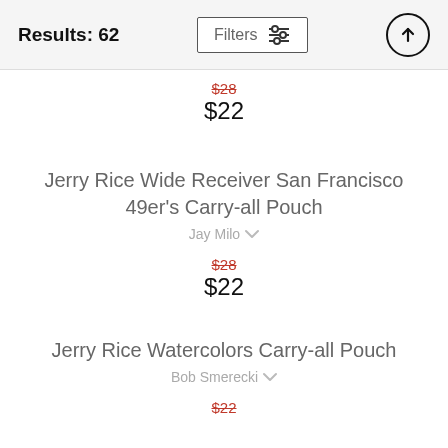Results: 62  Filters
$28 (strikethrough) $22
Jerry Rice Wide Receiver San Francisco 49er's Carry-all Pouch
Jay Milo
$28 (strikethrough) $22
Jerry Rice Watercolors Carry-all Pouch
Bob Smerecki
$22 (strikethrough)